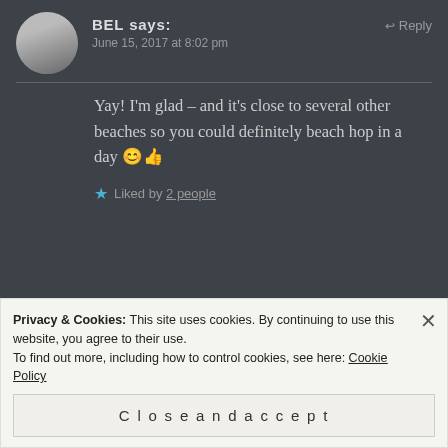[Figure (photo): Circular avatar photo of a person, black and white, small profile picture]
BEL says:
Reply
June 15, 2017 at 8:02 pm
Yay! I'm glad – and it's close to several other beaches so you could definitely beach hop in a day 😊👍
Liked by 2 people
Leave a Reply
Privacy & Cookies: This site uses cookies. By continuing to use this website, you agree to their use.
To find out more, including how to control cookies, see here: Cookie Policy
Close and accept